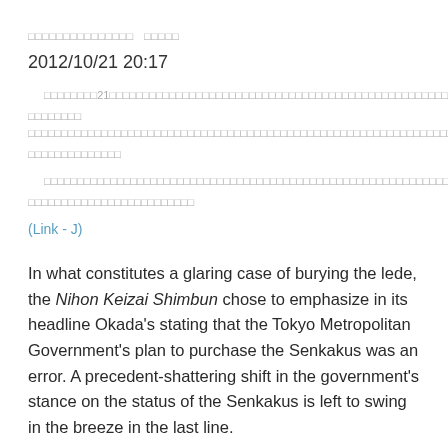□□□□□□□□□□□□□□□   □□□□□
2012/10/21 20:17
□□□□□□□□21□□□□□□□□□□□□□□□□□□□□□□□□□□□□□□□□□□□□□□□□□□□□□□□□□□□ □□□□□□□□□□□□□□□□□□□□□□□□□□□□□□□□□□□□□□□□□□□□□□□□□□□□□□□□□□□□□□□□□□□□□
□□□□□□□□□□□□□□□□□□□□□□□□□□□□□□□□□□□□□□□□□□□□□□□□□□□□□□□□□□□□□□□□□□□□□□□□□□□□□□□□□□□□□□□□□□□□□□□□□□
(Link - J)
In what constitutes a glaring case of burying the lede, the Nihon Keizai Shimbun chose to emphasize in its headline Okada's stating that the Tokyo Metropolitan Government's plan to purchase the Senkakus was an error. A precedent-shattering shift in the government's stance on the status of the Senkakus is left to swing in the breeze in the last line.